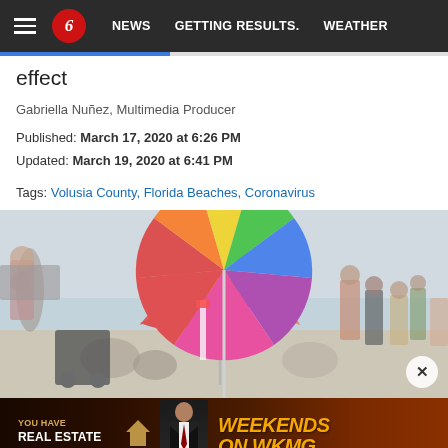NEWS | GETTING RESULTS. | WEATHER
effect
Gabriella Nuñez, Multimedia Producer
Published: March 17, 2020 at 6:26 PM
Updated: March 19, 2020 at 6:41 PM
Tags: Volusia County, Florida Beaches, Coronavirus
[Figure (photo): Beach scene with people and a colorful rainbow beach umbrella, crowded beach during spring break or pre-COVID period]
[Figure (photo): Advertisement banner: YOU HAVE REAL ESTATE with Attorney Justin Clark - WEEKENDS ON WKMG]